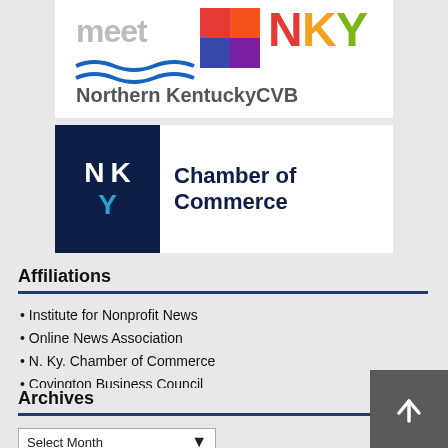[Figure (logo): Northern Kentucky CVB logo with 'meet NKY' text and wavy blue lines, multicolor flag/cube design]
[Figure (logo): NKY Chamber of Commerce logo with dark navy box containing N K Y letters (Y in blue) and 'Chamber of Commerce' text in navy]
Affiliations
• Institute for Nonprofit News
• Online News Association
• N. Ky. Chamber of Commerce
• Covington Business Council
Archives